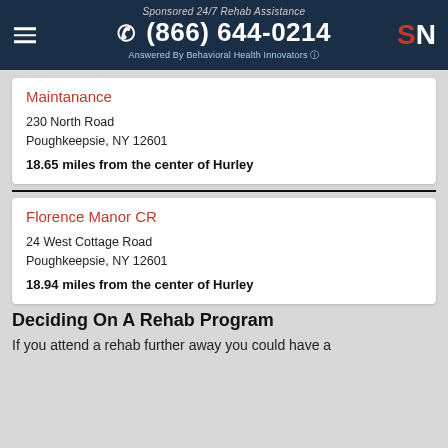Sponsored 24/7 Rehab Assistance (866) 644-0214 Answered By Behavioral Health Innovators
Maintanance
230 North Road
Poughkeepsie, NY 12601
18.65 miles from the center of Hurley
Florence Manor CR
24 West Cottage Road
Poughkeepsie, NY 12601
18.94 miles from the center of Hurley
Deciding On A Rehab Program
If you attend a rehab further away you could have a